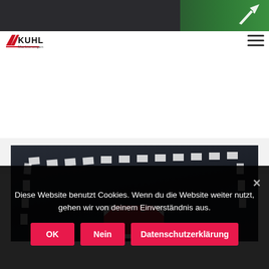[Figure (screenshot): Website header with dark banner showing a green pedestrian/bicycle path sign with white arrow, KUHL Markierungen logo bottom left, and hamburger menu icon bottom right]
[Figure (photo): Aerial/overhead view of dark asphalt road with white dashed lane markings and a red/white stop or yield sign marking painted on the road surface]
Diese Website benutzt Cookies. Wenn du die Website weiter nutzt, gehen wir von deinem Einverständnis aus.
OK
Nein
Datenschutzerklärung